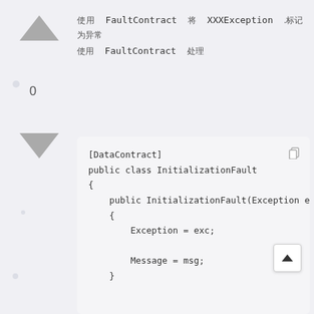使用 FaultContract 将 XXXException .标记为异常
使用 FaultContract 处理
[Figure (screenshot): Code block showing C# DataContract class InitializationFault with constructor, DataMember properties Exception and Message]
[DataContract]
public class InitializationFault
{
    public InitializationFault(Exception exc,
    {
        Exception = exc;
        Message = msg;
    }

    [DataMember]

    public Exception Exception { get; set; }

    [DataMember]

    public string Message { get; set; }